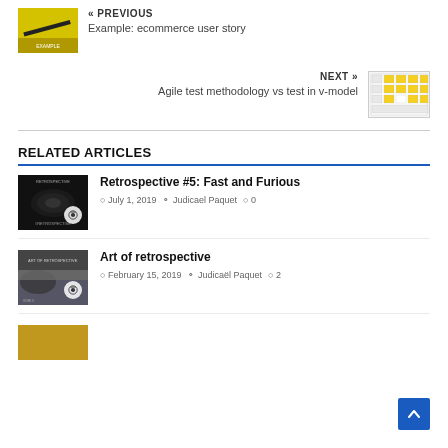[Figure (photo): Thumbnail image for previous article about ecommerce user story, yellow background with pen]
« PREVIOUS
Example: ecommerce user story
NEXT »
Agile test methodology vs test in v-model
[Figure (screenshot): Thumbnail image for next article about agile test methodology vs v-model, table/grid diagram]
RELATED ARTICLES
[Figure (photo): Thumbnail for Retrospective #5: Fast and Furious article, dark car image]
Retrospective #5: Fast and Furious
July 1, 2019  Judicael Paquet  0
[Figure (photo): Thumbnail for Art of retrospective article, road/mirror image]
Art of retrospective
February 15, 2019  Judicael Paquet  2
[Figure (photo): Thumbnail for another article, partially visible, warm/orange tones]